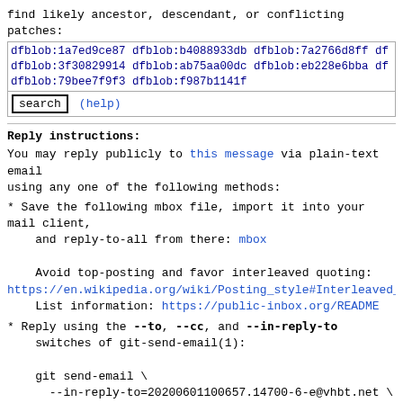find likely ancestor, descendant, or conflicting patches:
dfblob:1a7ed9ce87 dfblob:b4088933db dfblob:7a2766d8ff df
dfblob:3f30829914 dfblob:ab75aa00dc dfblob:eb228e6bba df
dfblob:79bee7f9f3 dfblob:f987b1141f
search    (help)
Reply instructions:
You may reply publicly to this message via plain-text email
using any one of the following methods:
* Save the following mbox file, import it into your mail client,
    and reply-to-all from there: mbox

    Avoid top-posting and favor interleaved quoting:
https://en.wikipedia.org/wiki/Posting_style#Interleaved_s
List information: https://public-inbox.org/README
* Reply using the --to, --cc, and --in-reply-to
    switches of git-send-email(1):

    git send-email \
      --in-reply-to=20200601100657.14700-6-e@vhbt.net \